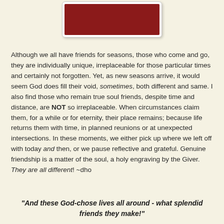[Figure (photo): Dark red/maroon rectangular image displayed in a white card with rounded corners and drop shadow]
Although we all have friends for seasons, those who come and go, they are individually unique, irreplaceable for those particular times and certainly not forgotten. Yet, as new seasons arrive, it would seem God does fill their void, sometimes, both different and same. I also find those who remain true soul friends, despite time and distance, are NOT so irreplaceable. When circumstances claim them, for a while or for eternity, their place remains; because life returns them with time, in planned reunions or at unexpected intersections. In these moments, we either pick up where we left off with today and then, or we pause reflective and grateful. Genuine friendship is a matter of the soul, a holy engraving by the Giver. They are all different! ~dho
"And these God-chose lives all around - what splendid friends they make!"